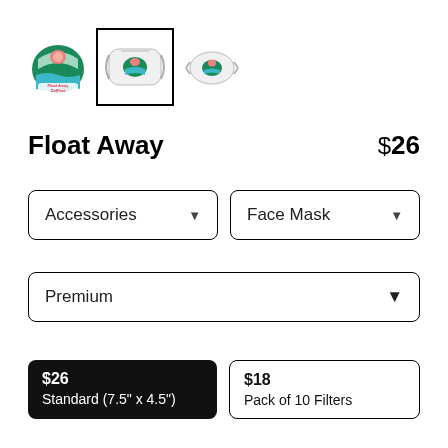[Figure (photo): Three product thumbnail images of a face mask with a festival logo: leftmost is a logo/graphic thumbnail, middle (selected, with black border) shows the mask from the front, rightmost shows the mask flat.]
Float Away
$26
Accessories ▾
Face Mask ▾
Premium ▾
$26
Standard (7.5" x 4.5")
$18
Pack of 10 Filters